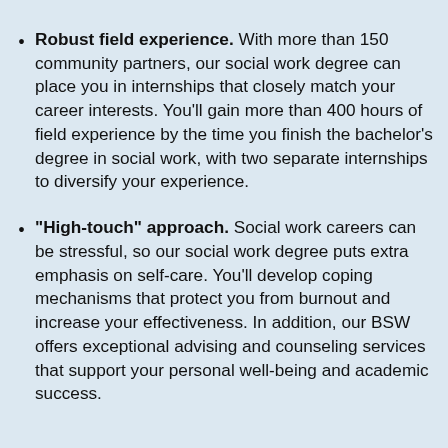Robust field experience. With more than 150 community partners, our social work degree can place you in internships that closely match your career interests. You'll gain more than 400 hours of field experience by the time you finish the bachelor's degree in social work, with two separate internships to diversify your experience.
"High-touch" approach. Social work careers can be stressful, so our social work degree puts extra emphasis on self-care. You'll develop coping mechanisms that protect you from burnout and increase your effectiveness. In addition, our BSW offers exceptional advising and counseling services that support your personal well-being and academic success.